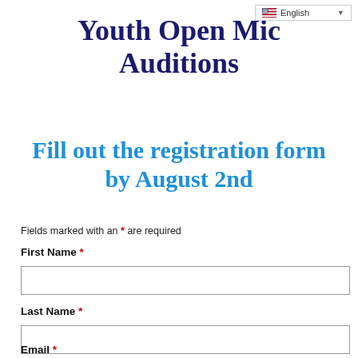[Figure (other): Language selector dropdown showing English with US flag and dropdown arrow]
Youth Open Mic Auditions
Fill out the registration form by August 2nd
Fields marked with an * are required
First Name *
Last Name *
Email *